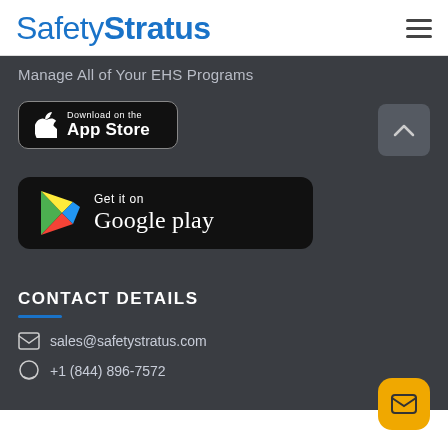SafetyStratus
Manage All of Your EHS Programs
[Figure (screenshot): Download on the App Store button]
[Figure (screenshot): Get it on Google Play button]
CONTACT DETAILS
sales@safetystratus.com
+1 (844) 896-7572